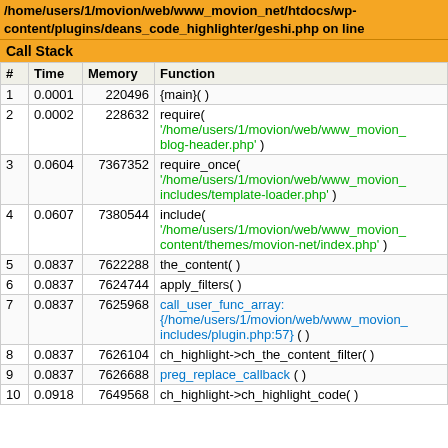/home/users/1/movion/web/www_movion_net/htdocs/wp-content/plugins/deans_code_highlighter/geshi.php on line
Call Stack
| # | Time | Memory | Function |
| --- | --- | --- | --- |
| 1 | 0.0001 | 220496 | {main}( ) |
| 2 | 0.0002 | 228632 | require( '/home/users/1/movion/web/www_movion_ blog-header.php' ) |
| 3 | 0.0604 | 7367352 | require_once( '/home/users/1/movion/web/www_movion_ includes/template-loader.php' ) |
| 4 | 0.0607 | 7380544 | include( '/home/users/1/movion/web/www_movion_ content/themes/movion-net/index.php' ) |
| 5 | 0.0837 | 7622288 | the_content( ) |
| 6 | 0.0837 | 7624744 | apply_filters( ) |
| 7 | 0.0837 | 7625968 | call_user_func_array: {/home/users/1/movion/web/www_movion_ includes/plugin.php:57} ( ) |
| 8 | 0.0837 | 7626104 | ch_highlight->ch_the_content_filter( ) |
| 9 | 0.0837 | 7626688 | preg_replace_callback ( ) |
| 10 | 0.0918 | 7649568 | ch_highlight->ch_highlight_code( ) |